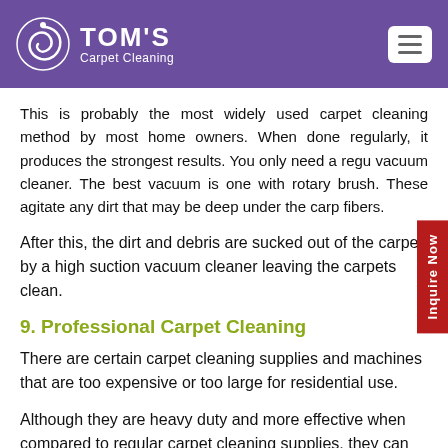TOM'S Carpet Cleaning
This is probably the most widely used carpet cleaning method by most home owners. When done regularly, it produces the strongest results. You only need a regular vacuum cleaner. The best vacuum is one with rotary brushes. These agitate any dirt that may be deep under the carpet fibers.
After this, the dirt and debris are sucked out of the carpet by a high suction vacuum cleaner leaving the carpets clean.
9. Professional Carpet Cleaning
There are certain carpet cleaning supplies and machines that are too expensive or too large for residential use.
Although they are heavy duty and more effective when compared to regular carpet cleaning supplies, they can only